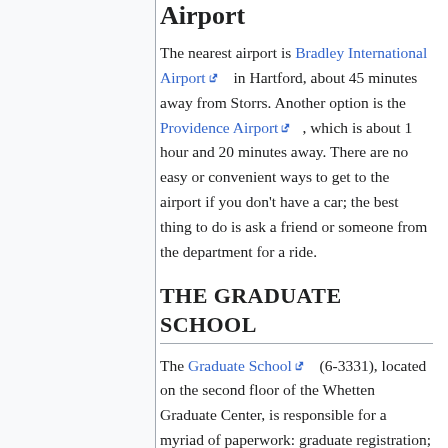Airport
The nearest airport is Bradley International Airport in Hartford, about 45 minutes away from Storrs. Another option is the Providence Airport, which is about 1 hour and 20 minutes away. There are no easy or convenient ways to get to the airport if you don't have a car; the best thing to do is ask a friend or someone from the department for a ride.
THE GRADUATE SCHOOL
The Graduate School (6-3331), located on the second floor of the Whetten Graduate Center, is responsible for a myriad of paperwork: graduate registration; graduate fellowships; approving your plan of study and dissertation prospectus; dissertations; and information about internal and